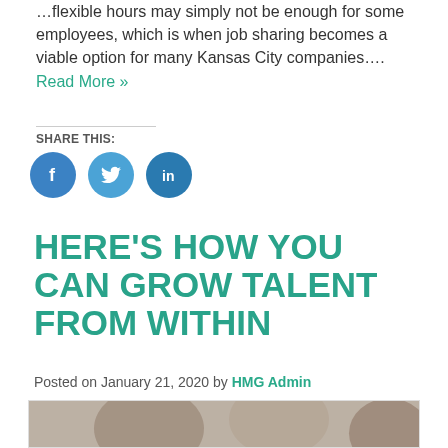…flexible hours may simply not be enough for some employees, which is when job sharing becomes a viable option for many Kansas City companies…. Read More »
SHARE THIS:
[Figure (infographic): Three social sharing icon buttons: Facebook (blue circle with f), Twitter (light blue circle with bird), LinkedIn (dark blue circle with in)]
HERE'S HOW YOU CAN GROW TALENT FROM WITHIN
Posted on January 21, 2020 by HMG Admin
[Figure (photo): A group of people in a meeting or classroom setting, with a woman with red hair visible in the center, and a wooden wall in the background.]